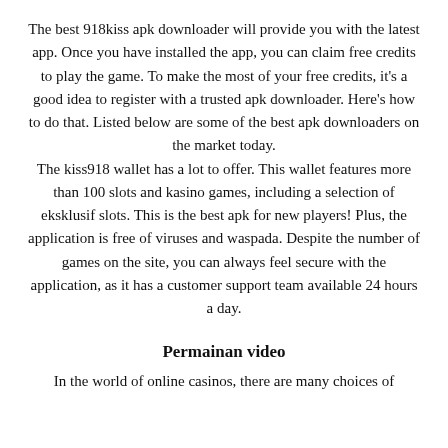The best 918kiss apk downloader will provide you with the latest app. Once you have installed the app, you can claim free credits to play the game. To make the most of your free credits, it's a good idea to register with a trusted apk downloader. Here's how to do that. Listed below are some of the best apk downloaders on the market today. The kiss918 wallet has a lot to offer. This wallet features more than 100 slots and kasino games, including a selection of eksklusif slots. This is the best apk for new players! Plus, the application is free of viruses and waspada. Despite the number of games on the site, you can always feel secure with the application, as it has a customer support team available 24 hours a day.
Permainan video
In the world of online casinos, there are many choices of